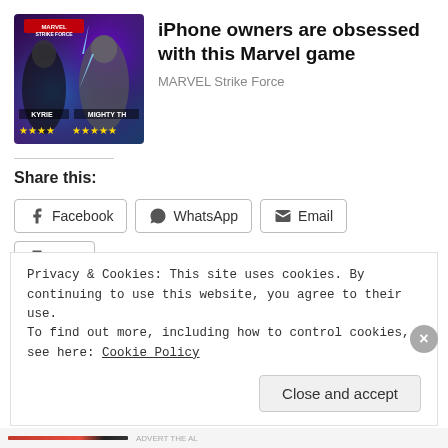[Figure (screenshot): MARVEL Strike Force game advertisement banner with two characters: KYRIE and MIGHTY THOR, with star ratings, on a purple/blue gradient background with lightning effects]
iPhone owners are obsessed with this Marvel game
MARVEL Strike Force
Share this:
Facebook  WhatsApp  Email  Print  More
Privacy & Cookies: This site uses cookies. By continuing to use this website, you agree to their use.
To find out more, including how to control cookies, see here: Cookie Policy
Close and accept